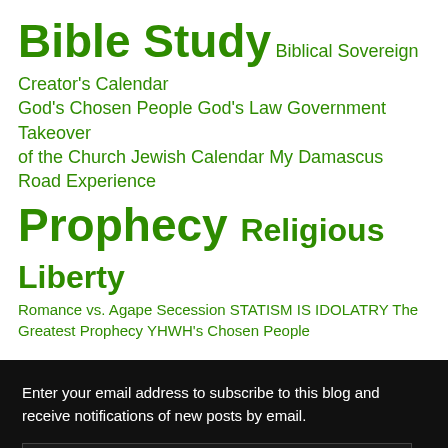Bible Study  Biblical Sovereign  Creator's Calendar  God's Chosen People  God's Law  Government Takeover of the Church  Jewish Calendar  My Damascus Road Experience  Prophecy  Religious Liberty  Romance vs. Agape  Secession  STATISM IS IDOLATRY  The Greatest Prophecy  YHWH's Chosen People
Enter your email address to subscribe to this blog and receive notifications of new posts by email.
Enter your email address
SUBSCRIBE
Join 871 other followers